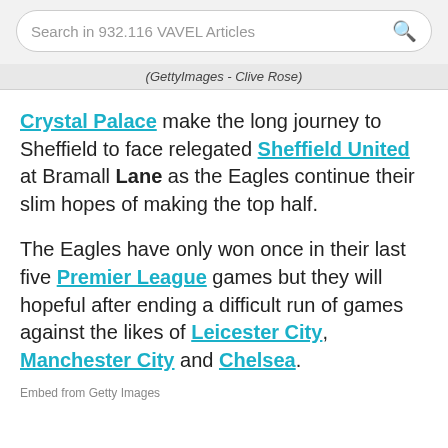Search in 932.116 VAVEL Articles
(GettyImages - Clive Rose)
Crystal Palace make the long journey to Sheffield to face relegated Sheffield United at Bramall Lane as the Eagles continue their slim hopes of making the top half.
The Eagles have only won once in their last five Premier League games but they will hopeful after ending a difficult run of games against the likes of Leicester City, Manchester City and Chelsea.
Embed from Getty Images